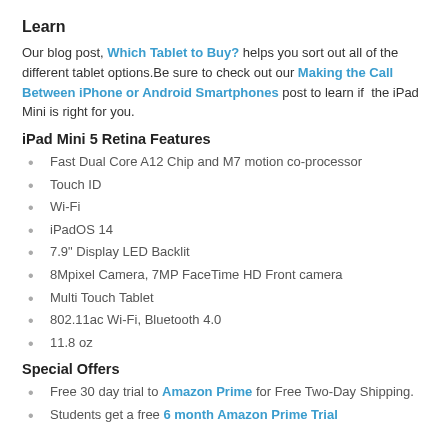Learn
Our blog post, Which Tablet to Buy? helps you sort out all of the different tablet options.Be sure to check out our Making the Call Between iPhone or Android Smartphones post to learn if the iPad Mini is right for you.
iPad Mini 5 Retina Features
Fast Dual Core A12 Chip and M7 motion co-processor
Touch ID
Wi-Fi
iPadOS 14
7.9" Display LED Backlit
8Mpixel Camera, 7MP FaceTime HD Front camera
Multi Touch Tablet
802.11ac Wi-Fi, Bluetooth 4.0
11.8 oz
Special Offers
Free 30 day trial to Amazon Prime for Free Two-Day Shipping.
Students get a free 6 month Amazon Prime Trial